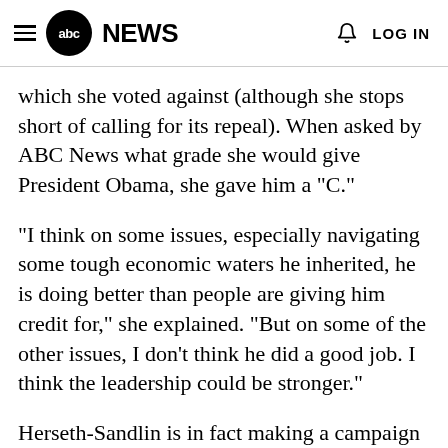abc NEWS  LOG IN
which she voted against (although she stops short of calling for its repeal). When asked by ABC News what grade she would give President Obama, she gave him a "C."
"I think on some issues, especially navigating some tough economic waters he inherited, he is doing better than people are giving him credit for," she explained. "But on some of the other issues, I don't think he did a good job. I think the leadership could be stronger."
Herseth-Sandlin is in fact making a campaign platform out of being willing to stand-up to the leadership in Washington, calling herself